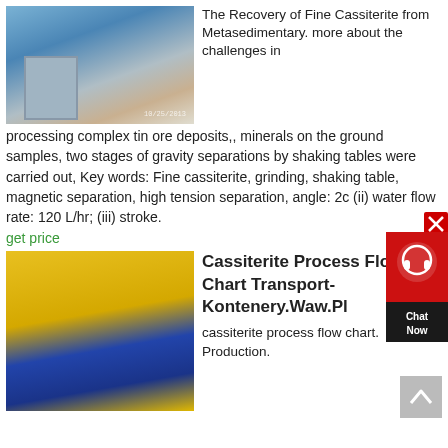[Figure (photo): Industrial mining/processing facility with blue metal structure, conveyor belts, and a concrete building. Dated 10/25/2013.]
The Recovery of Fine Cassiterite from Metasedimentary. more about the challenges in processing complex tin ore deposits,, minerals on the ground samples, two stages of gravity separations by shaking tables were carried out, Key words: Fine cassiterite, grinding, shaking table, magnetic separation, high tension separation, angle: 2c (ii) water flow rate: 120 L/hr; (iii) stroke.
get price
[Figure (photo): Yellow industrial processing machinery/crushers on a platform with blue motors.]
Cassiterite Process Flow Chart Transport-Kontenery.Waw.Pl
cassiterite process flow chart. Production.